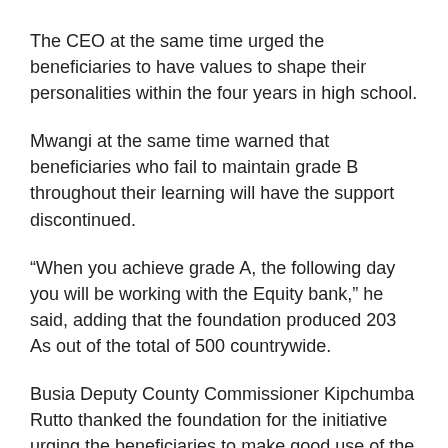The CEO at the same time urged the beneficiaries to have values to shape their personalities within the four years in high school.
Mwangi at the same time warned that beneficiaries who fail to maintain grade B throughout their learning will have the support discontinued.
“When you achieve grade A, the following day you will be working with the Equity bank,” he said, adding that the foundation produced 203 As out of the total of 500 countrywide.
Busia Deputy County Commissioner Kipchumba Rutto thanked the foundation for the initiative urging the beneficiaries to make good use of the opportunity.